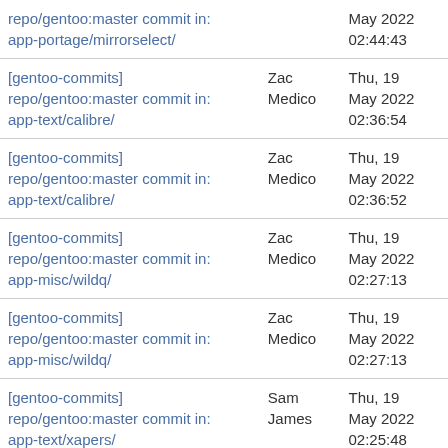| Subject | Author | Date |
| --- | --- | --- |
| repo/gentoo:master commit in: app-portage/mirrorselect/ |  | May 2022 02:44:43 |
| [gentoo-commits] repo/gentoo:master commit in: app-text/calibre/ | Zac Medico | Thu, 19 May 2022 02:36:54 |
| [gentoo-commits] repo/gentoo:master commit in: app-text/calibre/ | Zac Medico | Thu, 19 May 2022 02:36:52 |
| [gentoo-commits] repo/gentoo:master commit in: app-misc/wildq/ | Zac Medico | Thu, 19 May 2022 02:27:13 |
| [gentoo-commits] repo/gentoo:master commit in: app-misc/wildq/ | Zac Medico | Thu, 19 May 2022 02:27:13 |
| [gentoo-commits] repo/gentoo:master commit in: app-text/xapers/ | Sam James | Thu, 19 May 2022 02:25:48 |
| [gentoo-commits] repo/gentoo:master commit in: | Sam James | Thu, 19 May 2022 |